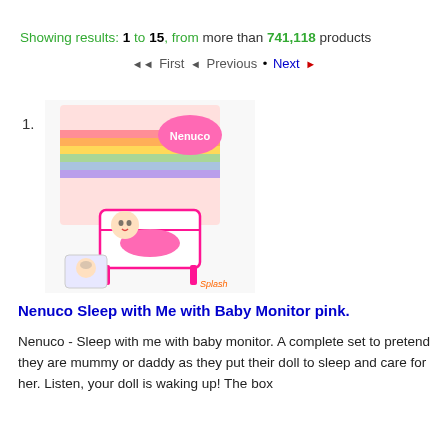Showing results: 1 to 15, from more than 741,118 products
◄◄ First ◄ Previous • Next ►
1.
[Figure (photo): Product photo of Nenuco Sleep with Me with Baby Monitor pink doll set in box]
Nenuco Sleep with Me with Baby Monitor pink.
Nenuco - Sleep with me with baby monitor. A complete set to pretend they are mummy or daddy as they put their doll to sleep and care for her. Listen, your doll is waking up! The box